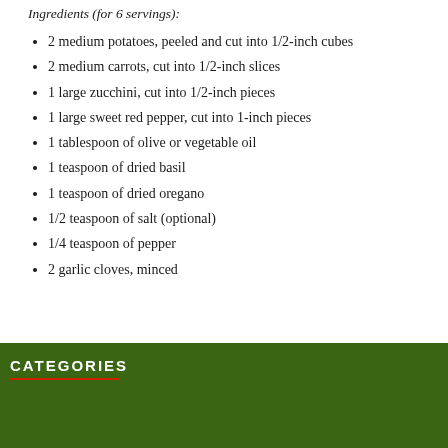Ingredients (for 6 servings):
2 medium potatoes, peeled and cut into 1/2-inch cubes
2 medium carrots, cut into 1/2-inch slices
1 large zucchini, cut into 1/2-inch pieces
1 large sweet red pepper, cut into 1-inch pieces
1 tablespoon of olive or vegetable oil
1 teaspoon of dried basil
1 teaspoon of dried oregano
1/2 teaspoon of salt (optional)
1/4 teaspoon of pepper
2 garlic cloves, minced
CATEGORIES